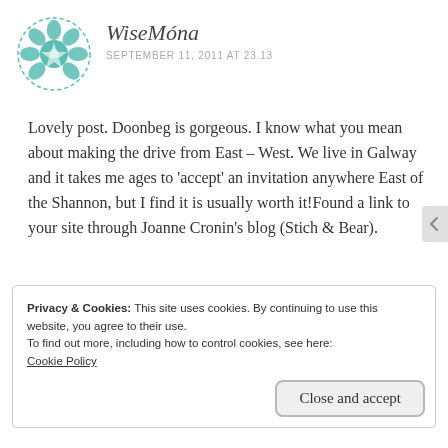[Figure (logo): Circular teal ornamental mandala/flower logo for user WiseMóna]
WiseMóna
SEPTEMBER 11, 2011 AT 23.13
Lovely post. Doonbeg is gorgeous. I know what you mean about making the drive from East – West. We live in Galway and it takes me ages to 'accept' an invitation anywhere East of the Shannon, but I find it is usually worth it!Found a link to your site through Joanne Cronin's blog (Stich & Bear).
Privacy & Cookies: This site uses cookies. By continuing to use this website, you agree to their use.
To find out more, including how to control cookies, see here:
Cookie Policy
Close and accept